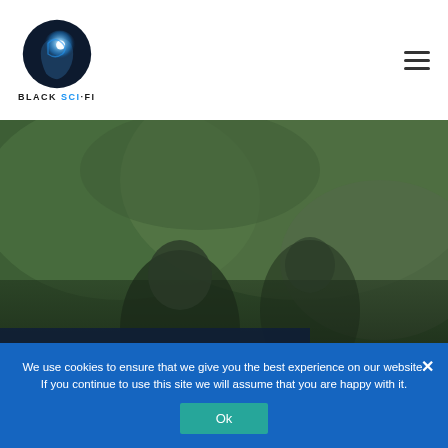[Figure (logo): Black Sci-Fi website logo: stylized head silhouette with glowing light, text BLACK SCI-FI below]
[Figure (photo): Hero image of a person outdoors with blurred green background, dark overlay card at bottom left with article title]
A Special Tribute on the passing of Nelson Mandela
We use cookies to ensure that we give you the best experience on our website. If you continue to use this site we will assume that you are happy with it.